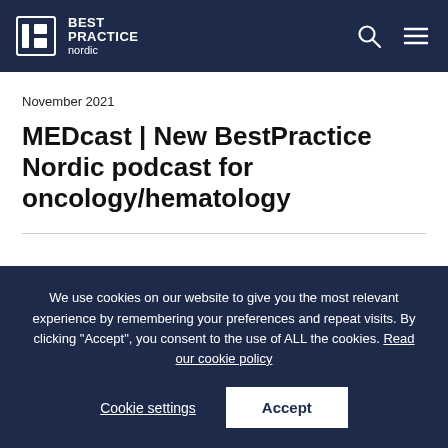BEST PRACTICE nordic
November 2021
MEDcast | New BestPractice Nordic podcast for oncology/hematology
We use cookies on our website to give you the most relevant experience by remembering your preferences and repeat visits. By clicking “Accept”, you consent to the use of ALL the cookies. Read our cookie policy
Cookie settings   Accept